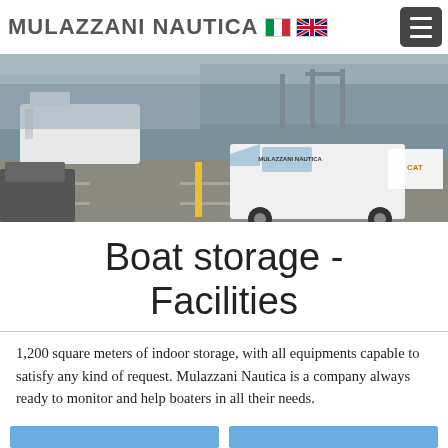MULAZZANI NAUTICA
[Figure (photo): A marina/port scene with boats and a white Mulazzani Nautica branded van parked on a dock area.]
Boat storage - Facilities
1,200 square meters of indoor storage, with all equipments capable to satisfy any kind of request. Mulazzani Nautica is a company always ready to monitor and help boaters in all their needs.